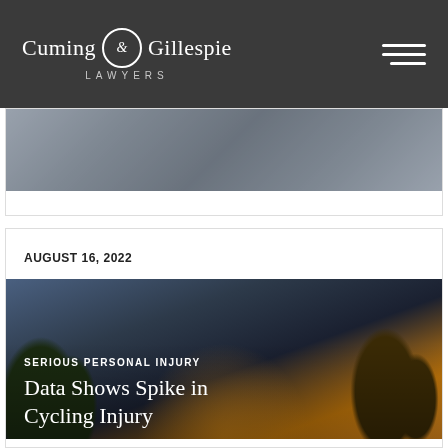Cuming & Gillespie LAWYERS
[Figure (photo): Partially visible blurred photo from previous article card]
AUGUST 16, 2022
[Figure (photo): Road at sunset with trees on both sides and warm orange glow, article image for cycling injury article]
SERIOUS PERSONAL INJURY
Data Shows Spike in Cycling Injury